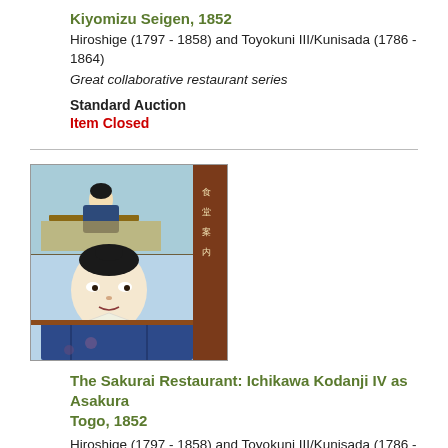Kiyomizu Seigen, 1852
Hiroshige (1797 - 1858) and Toyokuni III/Kunisada (1786 - 1864)
Great collaborative restaurant series
Standard Auction
Item Closed
[Figure (illustration): Japanese woodblock print showing two scenes: upper portion with a woman seated at a table in a restaurant setting, lower portion with a close-up portrait of a male kabuki actor in traditional costume with blue and dark robes.]
The Sakurai Restaurant: Ichikawa Kodanji IV as Asakura Togo, 1852
Hiroshige (1797 - 1858) and Toyokuni III/Kunisada (1786 - 1864)
Great collaborative restaurant series